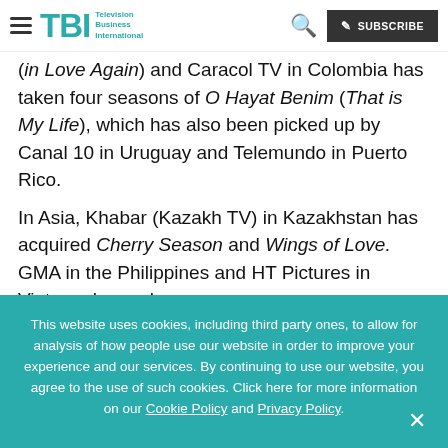TBI Television Business International — navigation bar with hamburger menu, TBI logo, search icon, and SUBSCRIBE button
(in Love Again) and Caracol TV in Colombia has taken four seasons of O Hayat Benim (That is My Life), which has also been picked up by Canal 10 in Uruguay and Telemundo in Puerto Rico.
In Asia, Khabar (Kazakh TV) in Kazakhstan has acquired Cherry Season and Wings of Love. GMA in the Philippines and HT Pictures in Vietnam have also
This website uses cookies, including third party ones, to allow for analysis of how people use our website in order to improve your experience and our services. By continuing to use our website, you agree to the use of such cookies. Click here for more information on our Cookie Policy and Privacy Policy.